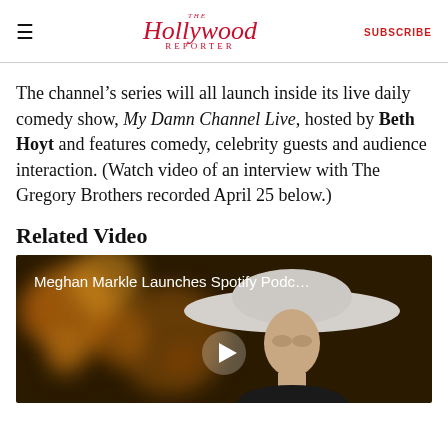The Hollywood Reporter — SUBSCRIBE
The channel's series will all launch inside its live daily comedy show, My Damn Channel Live, hosted by Beth Hoyt and features comedy, celebrity guests and audience interaction. (Watch video of an interview with The Gregory Brothers recorded April 25 below.)
Related Video
[Figure (screenshot): Video thumbnail of Meghan Markle Launches Spotify Podc... showing a woman in a white wide-brim hat against a bokeh background with a play button overlay.]